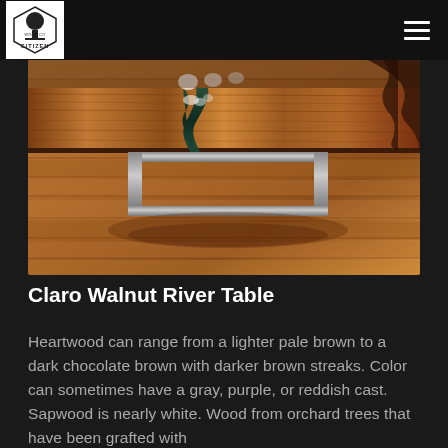Citizen Wood Co. — navigation header with logo and hamburger menu
[Figure (photo): Overhead view of a Claro Walnut River Table with epoxy resin river channel running through the center, showing rich wood grain and a U-shaped metal base, placed on a wood floor.]
Claro Walnut River Table
Heartwood can range from a lighter pale brown to a dark chocolate brown with darker brown streaks. Color can sometimes have a gray, purple, or reddish cast. Sapwood is nearly white. Wood from orchard trees that have been grafted with